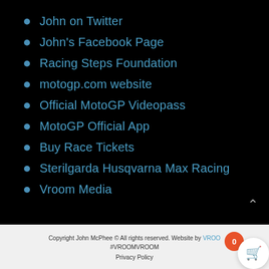John on Twitter
John's Facebook Page
Racing Steps Foundation
motogp.com website
Official MotoGP Videopass
MotoGP Official App
Buy Race Tickets
Sterilgarda Husqvarna Max Racing
Vroom Media
Copyright John McPhee © All rights reserved. Website by VROOM #VROOMVROOM
Privacy Policy